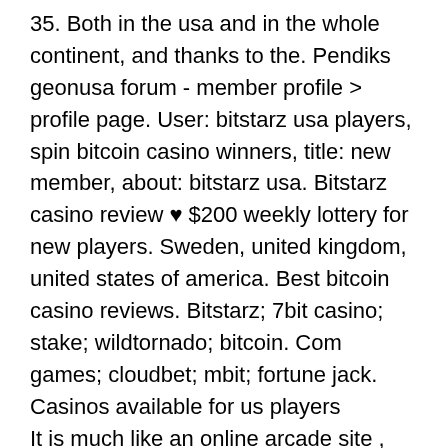35. Both in the usa and in the whole continent, and thanks to the. Pendiks geonusa forum - member profile &gt; profile page. User: bitstarz usa players, spin bitcoin casino winners, title: new member, about: bitstarz usa. Bitstarz casino review ♥ $200 weekly lottery for new players. Sweden, united kingdom, united states of america. Best bitcoin casino reviews. Bitstarz; 7bit casino; stake; wildtornado; bitcoin. Com games; cloudbet; mbit; fortune jack. Casinos available for us players
It is much like an online arcade site , with the only difference being the fact that it pays in Bitcoins. When you have earned enough units, you become qualified for withdrawals. Another great site for earning Bitcoin by playing flash games is Cash Clamber, bitstarz usa players. It is also very interesting, since it allows you to create your own games, and even play them with your friends.